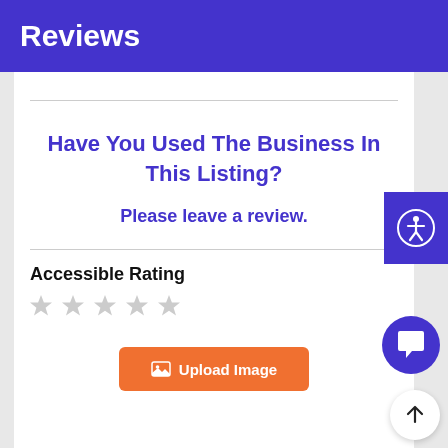Reviews
Have You Used The Business In This Listing?
Please leave a review.
Accessible Rating
[Figure (other): Five empty star rating icons for Accessible Rating]
[Figure (other): Upload Image button with image icon]
[Figure (other): Accessibility person icon widget on right side]
[Figure (other): Chat bubble button bottom right]
[Figure (other): Scroll to top arrow button bottom right]